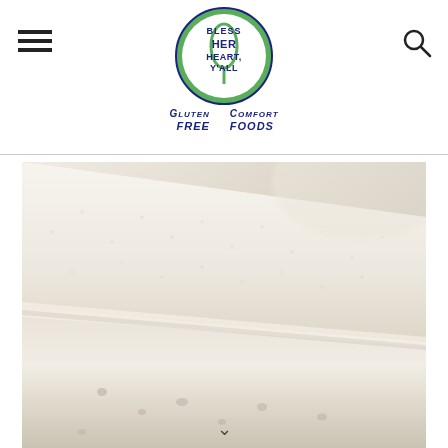Bless Her Heart Y'All — Gluten Free Comfort Foods
[Figure (photo): Close-up macro photograph of a slice of white gluten-free bread on a wooden cutting board, showing the soft airy crumb texture and smooth top crust.]
↓